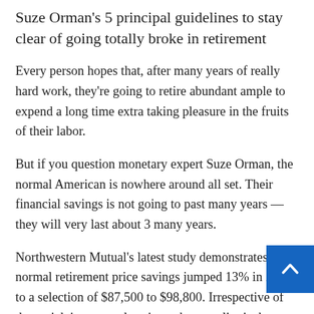Suze Orman's 5 principal guidelines to stay clear of going totally broke in retirement
Every person hopes that, after many years of really hard work, they're going to retire abundant ample to expend a long time extra taking pleasure in the fruits of their labor.
But if you question monetary expert Suze Orman, the normal American is nowhere around all set. Their financial savings is not going to past many years — they will very last about 3 many years.
Northwestern Mutual's latest study demonstrates that normal retirement price savings jumped 13% in 2021 to a selection of $87,500 to $98,800. Irrespective of the uptick in personal savings, the actuality is that seniors 65 and older commit an typical of $46,000 a year, the Bureau of Labor Data says.